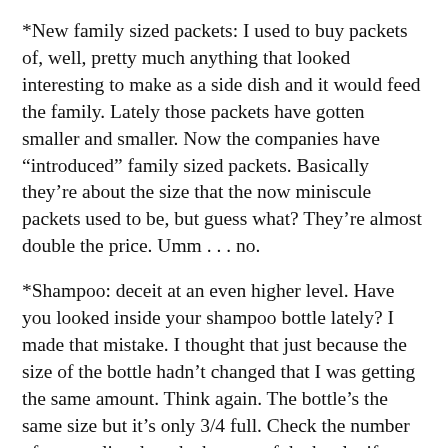*New family sized packets: I used to buy packets of, well, pretty much anything that looked interesting to make as a side dish and it would feed the family. Lately those packets have gotten smaller and smaller. Now the companies have “introduced” family sized packets. Basically they’re about the size that the now miniscule packets used to be, but guess what? They’re almost double the price. Umm . . . no.
*Shampoo: deceit at an even higher level. Have you looked inside your shampoo bottle lately? I made that mistake. I thought that just because the size of the bottle hadn’t changed that I was getting the same amount. Think again. The bottle’s the same size but it’s only 3/4 full. Check the number of ounces listed on the bottom of the bottle, if you can read it.
Then there’s make-up, laundry detergent . . .
It all gives new meaning to that old potato chip